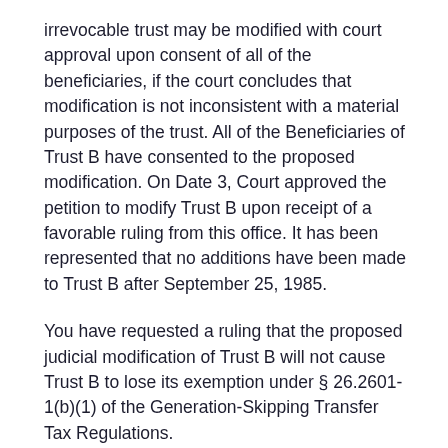irrevocable trust may be modified with court approval upon consent of all of the beneficiaries, if the court concludes that modification is not inconsistent with a material purposes of the trust. All of the Beneficiaries of Trust B have consented to the proposed modification. On Date 3, Court approved the petition to modify Trust B upon receipt of a favorable ruling from this office. It has been represented that no additions have been made to Trust B after September 25, 1985.
You have requested a ruling that the proposed judicial modification of Trust B will not cause Trust B to lose its exemption under § 26.2601-1(b)(1) of the Generation-Skipping Transfer Tax Regulations.
LAW AND ANALYSIS